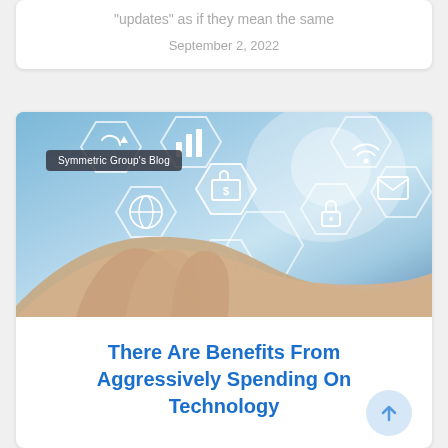“updates” as if they mean the same
September 2, 2022
[Figure (photo): A hand holding up glowing blue hexagonal icons representing technology concepts: phone, dollar/briefcase, globe, lock, gears, email/envelope. A label reads 'Symmetric Group’s Blog'.]
There Are Benefits From Aggressively Spending On Technology